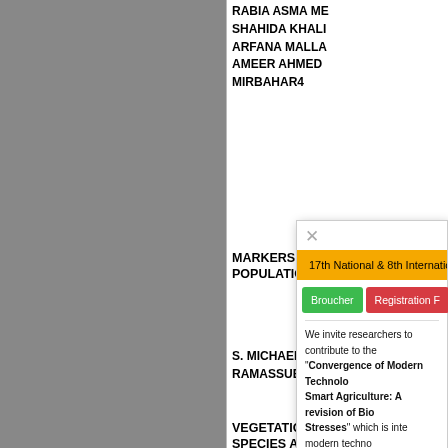RABIA ASMA ME...
SHAHIDA KHALI...
ARFANA MALLA...
AMEER AHMED
MIRBAHAR4
MARKERS FOR...
POPULATION C...
[Figure (screenshot): Modal dialog with close button (×), yellow banner reading '17th National & 8th International Confer...', green 'Broucher' button and red 'Registration F...' button, followed by body text starting 'We invite researchers to contribute to the...' with bold text '"Convergence of Modern Technology... Smart Agriculture: A revision of Biol... Stresses" which is inte... modern techno...']
S. MICHAEL GO...
RAMASUBRAMA...
SPECIAL ISSUE
VEGETATION A...
SPECIES ALEI...
DISTRIBUTION...
JABAL AL-AKH...